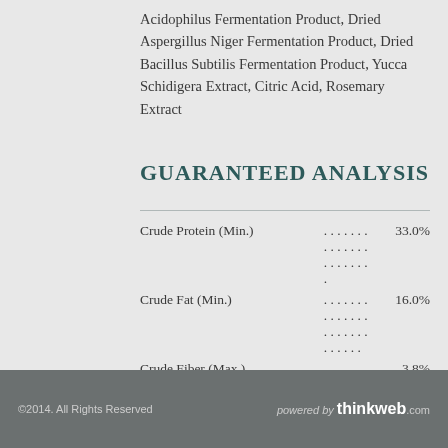Acidophilus Fermentation Product, Dried Aspergillus Niger Fermentation Product, Dried Bacillus Subtilis Fermentation Product, Yucca Schidigera Extract, Citric Acid, Rosemary Extract
GUARANTEED ANALYSIS
| Nutrient | Value |
| --- | --- |
| Crude Protein (Min.) | 33.0% |
| Crude Fat (Min.) | 16.0% |
| Crude Fiber (Max.) | 3.8% |
| Moisture (Max.) | 9.0% |
| Zinc (Min.) | 150 mg/kg |
| Selenium (Min.) | 0.4 mg/kg |
| Vitamin E (Min.) | 150 IU/kg |
| Linoleic Acid (Omega 6) (Min.) | 2.8% |
| Linolenic Acid (Omega 3) (Min.) | 0.4% |
| L-Carnitine* (Min.) | 50 mg/kg |
©2014. All Rights Reserved   powered by thinkweb.com